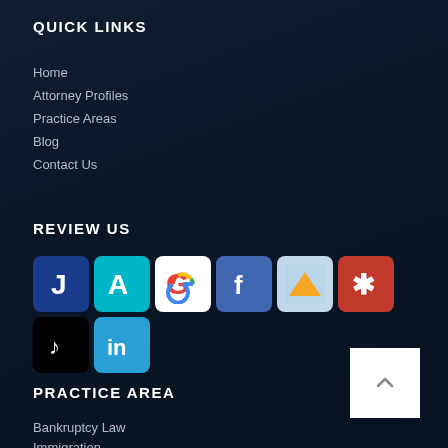QUICK LINKS
Home
Attorney Profiles
Practice Areas
Blog
Contact Us
REVIEW US
[Figure (infographic): Row of social/review platform icons: Justia (J, dark blue), Avvo (A, teal), Google (G, multicolor), Facebook (f, blue), FindLaw (triangle, orange/white), Yelp (asterisk, red). Second row: TikTok (music note, black), LinkedIn (in, blue).]
PRACTICE AREA
Bankruptcy Law
Immigration